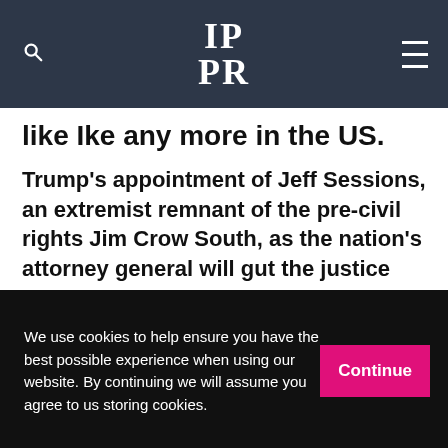IPPR (logo header with search and menu icons)
like Ike any more in the US.
Trump's appointment of Jeff Sessions, an extremist remnant of the pre-civil rights Jim Crow South, as the nation's attorney general will gut the justice department's civil rights enforcement. This includes support for African American and Latino voting rights, which Republican state governments around the country have sought to impede by
We use cookies to help ensure you have the best possible experience when using our website. By continuing we will assume you agree to us storing cookies.